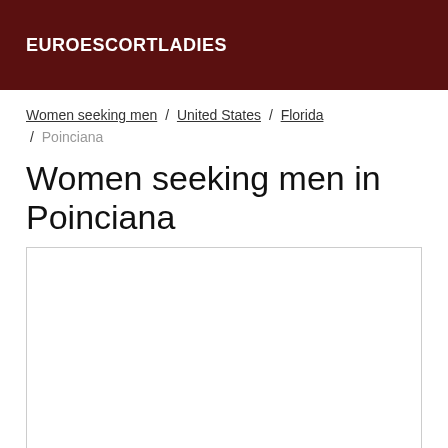EUROESCORTLADIES
Women seeking men / United States / Florida / Poinciana
Women seeking men in Poinciana
[Figure (other): Empty white content box with light gray border]